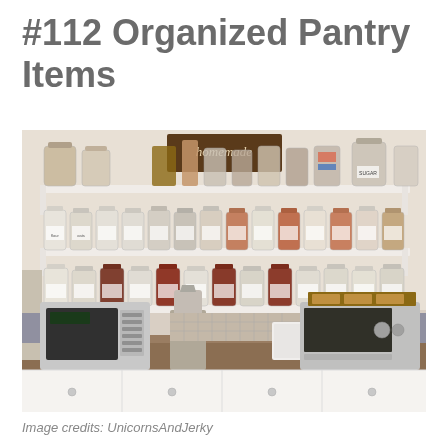#112 Organized Pantry Items
[Figure (photo): A well-organized kitchen pantry with multiple white shelves filled with labeled glass mason jars containing various dry goods like flour, grains, beans, and spices. On the counter below sit a microwave, a blender, a white container, and a toaster oven. Above the top shelf is a rustic wooden sign reading 'homemade'. The counter has brown granite and white cabinets below.]
Image credits: UnicornsAndJerky